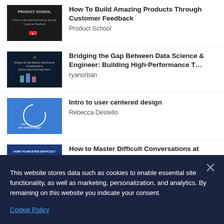How To Build Amazing Products Through Customer Feedback – Product School
Bridging the Gap Between Data Science & Engineer: Building High-Performance T… – ryanorban
Intro to user centered design – Rebecca Destello
How to Master Difficult Conversations at
This website stores data such as cookies to enable essential site functionality, as well as marketing, personalization, and analytics. By remaining on this website you indicate your consent.
Cookie Policy